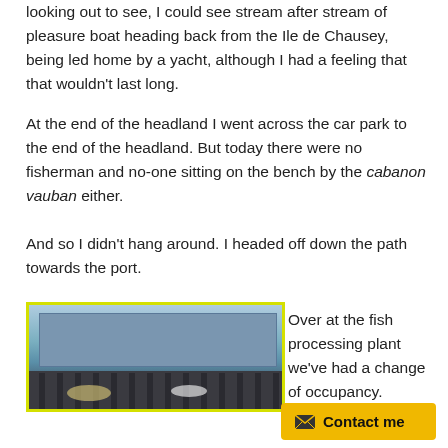looking out to see, I could see stream after stream of pleasure boat heading back from the Ile de Chausey, being led home by a yacht, although I had a feeling that that wouldn't last long.
At the end of the headland I went across the car park to the end of the headland. But today there were no fisherman and no-one sitting on the bench by the cabanon vauban either.
And so I didn't hang around. I headed off down the path towards the port.
[Figure (photo): Photo of a fish processing plant / dock with boats moored alongside wooden pilings, industrial building in background, surrounded by a yellow border.]
Over at the fish processing plant we've had a change of occupancy.
Contact me